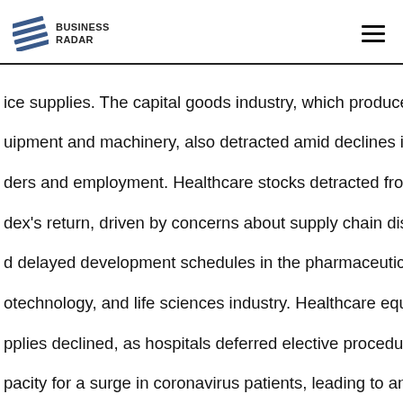BUSINESS RADAR
ice supplies. The capital goods industry, which produces heavy uipment and machinery, also detracted amid declines in factory ders and employment. Healthcare stocks detracted from the dex's return, driven by concerns about supply chain disruptions d delayed development schedules in the pharmaceuticals, otechnology, and life sciences industry. Healthcare equipment an pplies declined, as hospitals deferred elective procedures to save pacity for a surge in coronavirus patients, leading to anticipated ver demand for the medical equipment used for elective ocedures. Information technology stocks also detracted from the dex's performance despite a generally favorable environment prio the coronavirus outbreak. Despite relatively strong revenue owth, small-capitalization application software stocks declined, as veral companies reported earnings that fell short of investors' atively high expectations for growth. Portfolio Information LOCATION BY SECTOR TEN LARGEST HOLDINGS Percent of Perce Sector Total Investment (%) Security Total Investment (%) Health